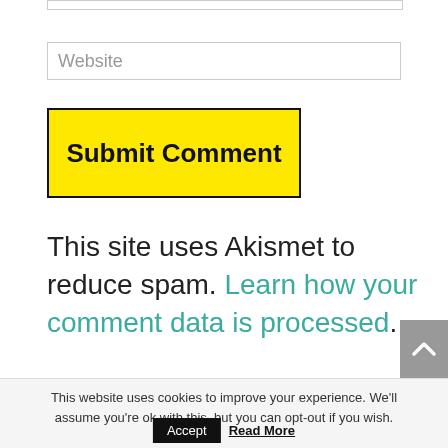Website
Submit Comment
This site uses Akismet to reduce spam. Learn how your comment data is processed.
This website uses cookies to improve your experience. We'll assume you're ok with this, but you can opt-out if you wish.
Accept
Read More